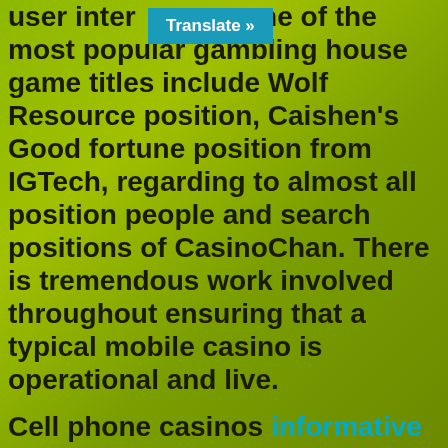user inter [Translate »] me of the most popular gambling house game titles include Wolf Resource position, Caishen's Good fortune position from IGTech, regarding to almost all position people and search positions of CasinoChan. There is tremendous work involved throughout ensuring that a typical mobile casino is operational and live.
Cell phone casinos informative post offer you a new large choice of bank choices for mobile players even. Pogo is a good fine area to carry out